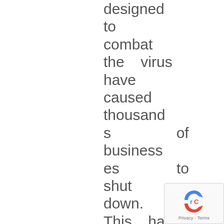designed to combat the virus have caused thousands of businesses to shut down. This has included restaurants, gyms and other training centres
[Figure (logo): reCAPTCHA badge with Google logo and Privacy - Terms text]